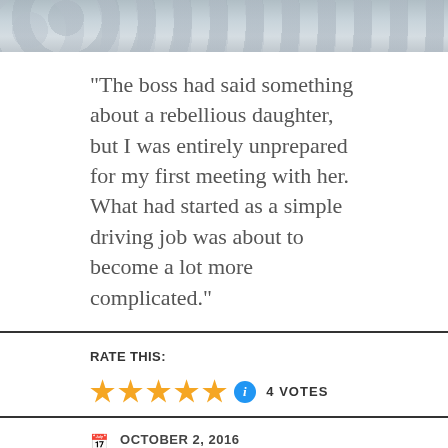[Figure (photo): Partial photograph showing a tiled floor with muted blue, grey, and lavender tones, cropped at the top of the page.]
“The boss had said something about a rebellious daughter, but I was entirely unprepared for my first meeting with her. What had started as a simple driving job was about to become a lot more complicated.”
RATE THIS:
[Figure (other): Five gold star rating icons followed by a blue info icon and the text '4 VOTES']
OCTOBER 2, 2016
ENF, NUDE
LEAVE A COMMENT